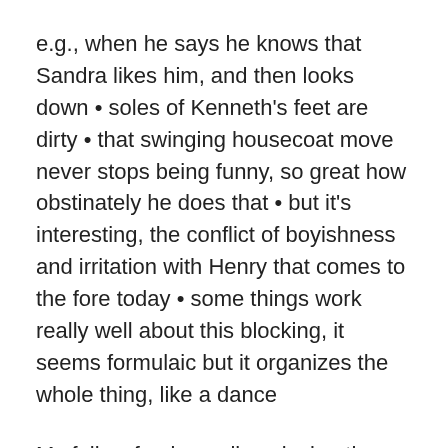e.g., when he says he knows that Sandra likes him, and then looks down • soles of Kenneth's feet are dirty • that swinging housecoat move never stops being funny, so great how obstinately he does that • but it's interesting, the conflict of boyishness and irritation with Henry that comes to the fore today • some things work really well about this blocking, it seems formulaic but it organizes the whole thing, like a dance
My fellow fan is: really enjoying the show: “I feel like I have to think about everything I’ve seen again after seeing him do this — he’s just so good.” She really wants to greet him at the stage door, but her train is leaving before the evening performance ends. We talk about the logistics of staying cheaply and safely overnight in NYC in case she wants to come again to this show or to a future one. Her thrilling and her enthusiasm and a front talk to her...